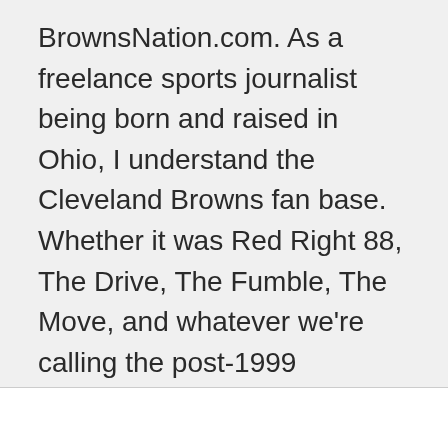BrownsNation.com. As a freelance sports journalist being born and raised in Ohio, I understand the Cleveland Browns fan base. Whether it was Red Right 88, The Drive, The Fumble, The Move, and whatever we're calling the post-1999 quarterback dilemma, Browns fans just want a winner. When I'm not plugging away in front of the computer, I'm probably watching sports or thinking about sports.